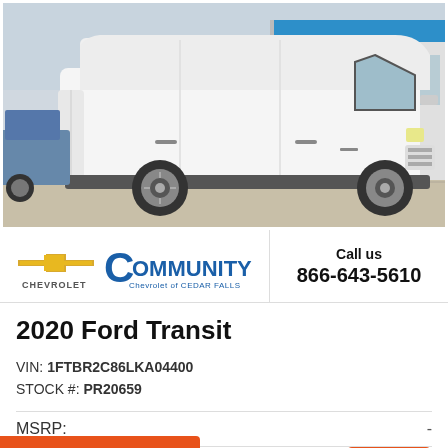[Figure (photo): Side view of a white 2020 Ford Transit cargo van parked in front of a dealership building with a blue and white facade. Another vehicle partially visible on the left.]
[Figure (logo): Community Chevrolet of Cedar Falls dealer logo with Chevrolet bowtie emblem]
Call us
866-643-5610
2020 Ford Transit
VIN: 1FTBR2C86LKA04400
STOCK #: PR20659
MSRP:  -
Dealer Discount